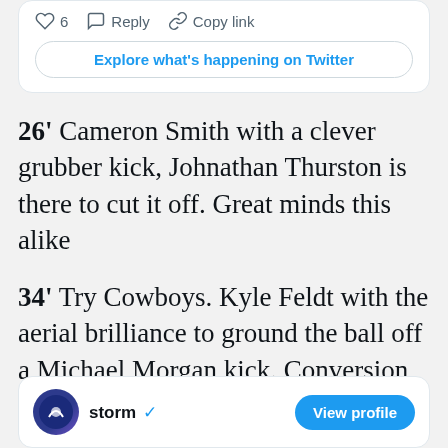[Figure (screenshot): Twitter/social media card with action icons: heart icon with count 6, Reply button, Copy link button, and Explore what's happening on Twitter button]
26' Cameron Smith with a clever grubber kick, Johnathan Thurston is there to cut it off. Great minds this alike
34' Try Cowboys. Kyle Feldt with the aerial brilliance to ground the ball off a Michael Morgan kick. Conversion misses so we're level again at 4-4
[Figure (screenshot): Twitter profile card bottom section showing storm account with verified badge and View profile button]